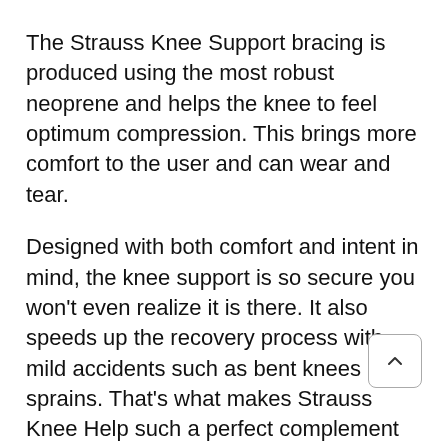The Strauss Knee Support bracing is produced using the most robust neoprene and helps the knee to feel optimum compression. This brings more comfort to the user and can wear and tear.
Designed with both comfort and intent in mind, the knee support is so secure you won't even realize it is there. It also speeds up the recovery process with mild accidents such as bent knees and sprains. That's what makes Strauss Knee Help such a perfect complement to wear the workout.
Crafted from strong neoprene with optimum stability and heat preservation